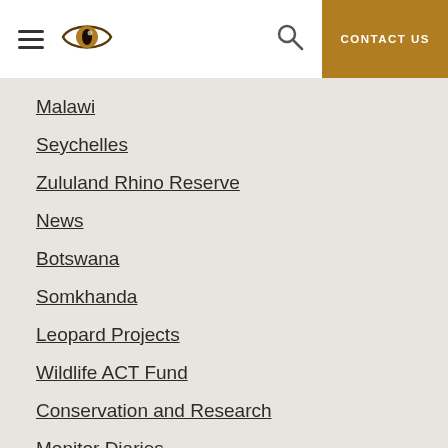Navigation header with hamburger menu, eye logo, search icon, and CONTACT US button
Malawi
Seychelles
Zululand Rhino Reserve
News
Botswana
Somkhanda
Leopard Projects
Wildlife ACT Fund
Conservation and Research
Monitor Diaries
Volunteer Diaries
Zimanga
Volunteer blogs